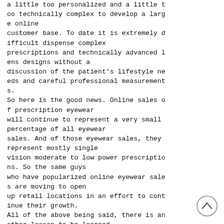a little too personalized and a little too technically complex to develop a large online customer base. To date it is extremely difficult dispense complex prescriptions and technically advanced lens designs without a discussion of the patient's lifestyle needs and careful professional measurements.
So here is the good news. Online sales of prescription eyewear will continue to represent a very small percentage of all eyewear sales. And of those eyewear sales, they represent mostly single vision moderate to low power prescriptions. So the same guys who have popularized online eyewear sales are moving to open up retail locations in an effort to continue their growth.
All of the above being said, there is another lesson to be learned
[Figure (other): A circular scroll-to-top button with an upward-pointing chevron arrow, positioned in the bottom-right corner of the page.]